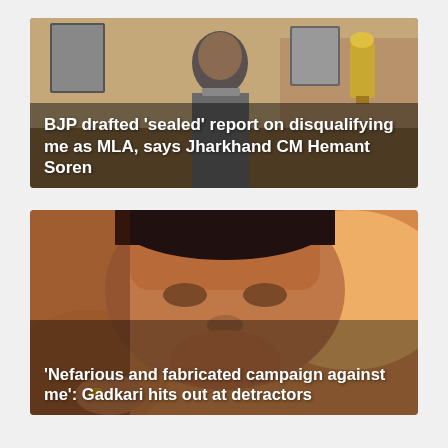[Figure (photo): Photo of Jharkhand CM Hemant Soren seated at an office desk with trophies and framed portraits visible in the background.]
BJP drafted 'sealed' report on disqualifying me as MLA, says Jharkhand CM Hemant Soren
[Figure (photo): Close-up photo of Nitin Gadkari against an orange/blurred background.]
'Nefarious and fabricated campaign against me': Gadkari hits out at detractors